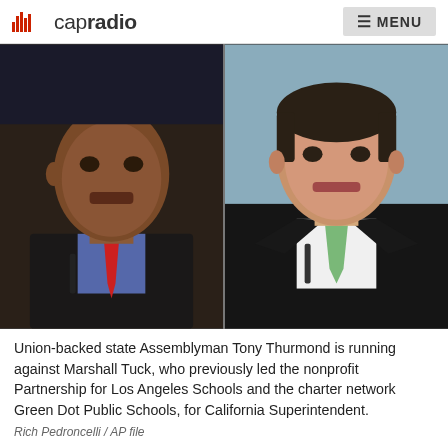capradio  MENU
[Figure (photo): Side-by-side photos of two men: on the left, Tony Thurmond, a Black man in a blue suit and red tie; on the right, Marshall Tuck, a white man in a dark suit and green tie.]
Union-backed state Assemblyman Tony Thurmond is running against Marshall Tuck, who previously led the nonprofit Partnership for Los Angeles Schools and the charter network Green Dot Public Schools, for California Superintendent.
Rich Pedroncelli / AP file